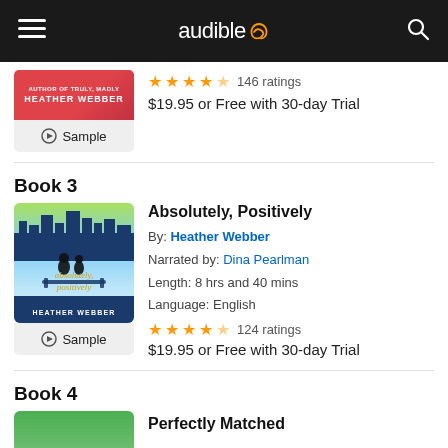audible [logo with menu and search icons]
146 ratings
$19.95 or Free with 30-day Trial
Book 3
Absolutely, Positively
By: Heather Webber
Narrated by: Dina Pearlman
Length: 8 hrs and 40 mins
Language: English
124 ratings
$19.95 or Free with 30-day Trial
Book 4
Perfectly Matched